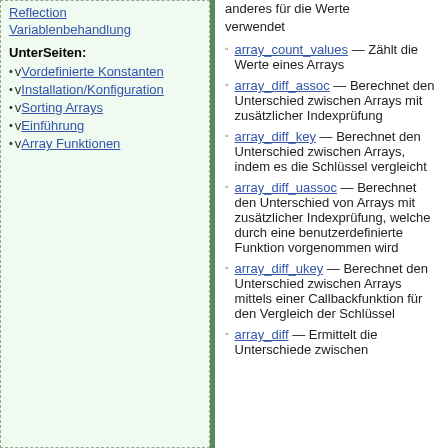Reflection
Variablenbehandlung
UnterSeiten:
v Vordefinierte Konstanten
v Installation/Konfiguration
v Sorting Arrays
v Einführung
v Array Funktionen
anderes für die Werte verwendet
array_count_values — Zählt die Werte eines Arrays
array_diff_assoc — Berechnet den Unterschied zwischen Arrays mit zusätzlicher Indexprüfung
array_diff_key — Berechnet den Unterschied zwischen Arrays, indem es die Schlüssel vergleicht
array_diff_uassoc — Berechnet den Unterschied von Arrays mit zusätzlicher Indexprüfung, welche durch eine benutzerdefinierte Funktion vorgenommen wird
array_diff_ukey — Berechnet den Unterschied zwischen Arrays mittels einer Callbackfunktion für den Vergleich der Schlüssel
array_diff — Ermittelt die Unterschiede zwischen